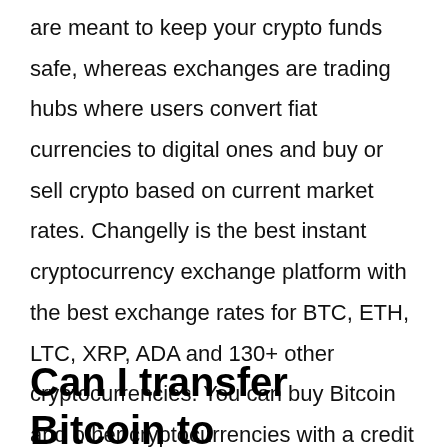are meant to keep your crypto funds safe, whereas exchanges are trading hubs where users convert fiat currencies to digital ones and buy or sell crypto based on current market rates. Changelly is the best instant cryptocurrency exchange platform with the best exchange rates for BTC, ETH, LTC, XRP, ADA and 130+ other cryptocurrencies. You can buy Bitcoin and other cryptocurrencies with a credit card or any crypto wallet.
Can I transfer Bitcoin to